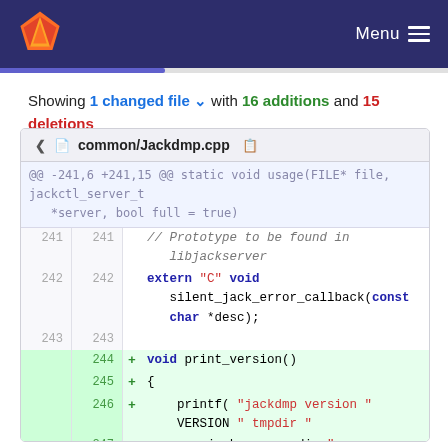Menu
Showing 1 changed file with 16 additions and 15 deletions
common/Jackdmp.cpp
@@ -241,6 +241,15 @@ static void usage(FILE* file, jackctl_server_t *server, bool full = true)
241 241   // Prototype to be found in libjackserver
242 242   extern "C" void silent_jack_error_callback(const char *desc);
243 243  
    244 + void print_version()
    245 + {
    246 +     printf( "jackdmp version " VERSION " tmpdir "
    247 +             jack_server_dir "